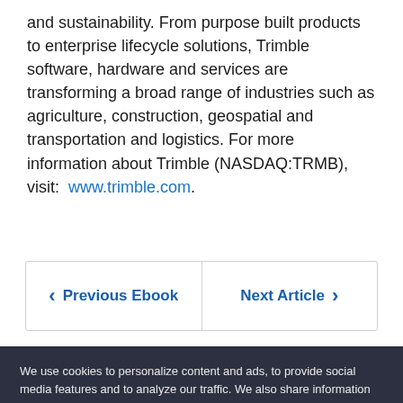and sustainability. From purpose built products to enterprise lifecycle solutions, Trimble software, hardware and services are transforming a broad range of industries such as agriculture, construction, geospatial and transportation and logistics. For more information about Trimble (NASDAQ:TRMB), visit: www.trimble.com.
Previous Ebook | Next Article
We use cookies to personalize content and ads, to provide social media features and to analyze our traffic. We also share information about your use of our site with our social media, advertising and analytics partners.